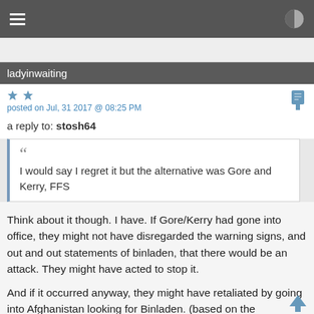ladyinwaiting
posted on Jul, 31 2017 @ 08:25 PM
a reply to: stosh64
I would say I regret it but the alternative was Gore and Kerry, FFS
Think about it though. I have. If Gore/Kerry had gone into office, they might not have disregarded the warning signs, and out and out statements of binladen, that there would be an attack. They might have acted to stop it.
And if it occurred anyway, they might have retaliated by going into Afghanistan looking for Binladen. (based on the